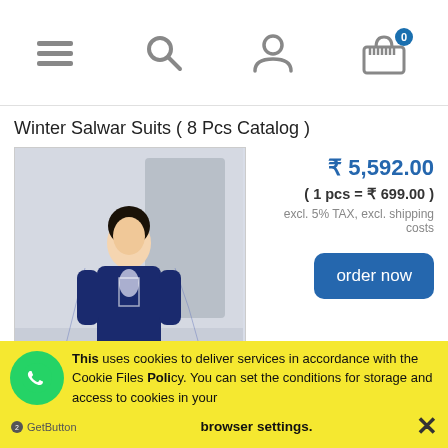[Figure (screenshot): Top navigation bar with hamburger menu, search icon, user icon, and cart icon with badge showing 0]
Winter Salwar Suits ( 8 Pcs Catalog )
[Figure (photo): Product photo of a woman wearing a navy blue salwar suit with embroidery and sheer dupatta]
₹ 5,592.00
( 1 pcs = ₹ 699.00 )
excl. 5% TAX, excl. shipping costs
order now
Deepsy Elan Vol-12 Silk Digital Dress Material ( 6 Pc Catalog )
This uses cookies to deliver services in accordance with the Cookie Files Policy. You can set the conditions for storage and access to cookies in your browser settings.